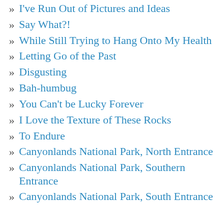I've Run Out of Pictures and Ideas
Say What?!
While Still Trying to Hang Onto My Health
Letting Go of the Past
Disgusting
Bah-humbug
You Can't be Lucky Forever
I Love the Texture of These Rocks
To Endure
Canyonlands National Park, North Entrance
Canyonlands National Park, Southern Entrance
Canyonlands National Park, South Entrance